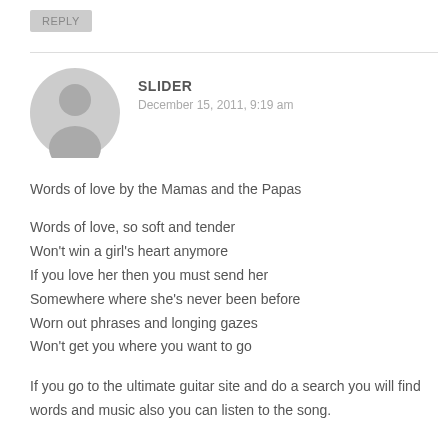REPLY
SLIDER
December 15, 2011, 9:19 am
[Figure (illustration): Gray default user avatar icon showing silhouette of a person with head and shoulders]
Words of love by the Mamas and the Papas
Words of love, so soft and tender
Won't win a girl's heart anymore
If you love her then you must send her
Somewhere where she's never been before
Worn out phrases and longing gazes
Won't get you where you want to go
If you go to the ultimate guitar site and do a search you will find words and music also you can listen to the song.